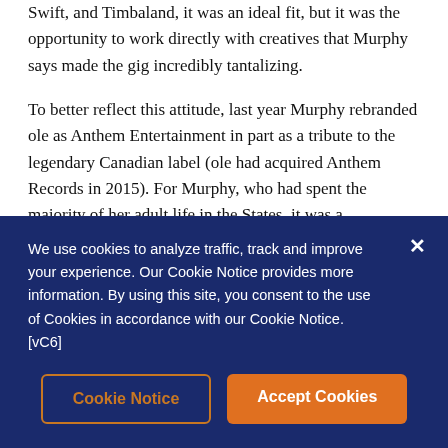Swift, and Timbaland, it was an ideal fit, but it was the opportunity to work directly with creatives that Murphy says made the gig incredibly tantalizing.
To better reflect this attitude, last year Murphy rebranded ole as Anthem Entertainment in part as a tribute to the legendary Canadian label (ole had acquired Anthem Records in 2015). For Murphy, who had spent the majority of her adult life in the States, it was a homecoming of sorts. And it's in that spirit she says that some of her greatest achievements as CEO of Anthem have been discovering
We use cookies to analyze traffic, track and improve your experience. Our Cookie Notice provides more information. By using this site, you consent to the use of Cookies in accordance with our Cookie Notice. [vC6]